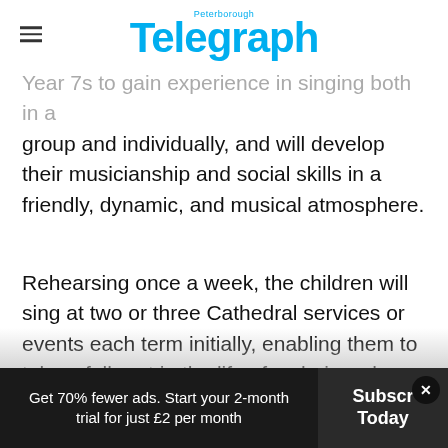Peterborough Telegraph
Year 7s to gain experience in singing both in a group and individually, and will develop their musicianship and social skills in a friendly, dynamic, and musical atmosphere.
Rehearsing once a week, the children will sing at two or three Cathedral services or events each term initially, enabling them to take a full part in the life of a choir and experience the rich heritage that the Cathedral has to offer. The Children's Choir is...
Get 70% fewer ads. Start your 2-month trial for just £2 per month  Subscribe Today